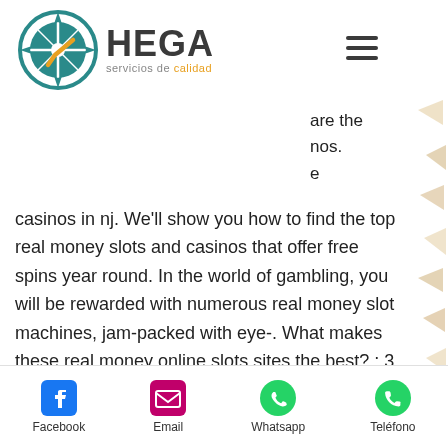[Figure (logo): HEGA servicios de calidad logo with circular compass-like emblem in teal and gold]
are the nos. e casinos in nj. We'll show you how to find the top real money slots and casinos that offer free spins year round. In the world of gambling, you will be rewarded with numerous real money slot machines, jam-packed with eye-. What makes these real money online slots sites the best? ; 3, super slots, 196, 94. 97%, visit now ; 4, betus casino, 237, 96. Moving to slots, draftkings casino offers one of america's widest varieties of slot machines. It has 500+ online slots in new jersey, 300–400 in pennsylvania Top real money slots casinos in 2022. In the
Facebook   Email   Whatsapp   Teléfono